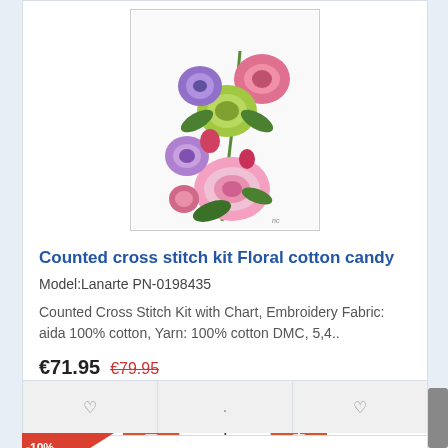[Figure (photo): Counted cross stitch embroidery product image showing colorful floral bouquet with pink peonies, purple flowers, and green chrysanthemums on white background]
Counted cross stitch kit Floral cotton candy
Model:Lanarte PN-0198435
Counted Cross Stitch Kit with Chart, Embroidery Fabric: aida 100% cotton, Yarn: 100% cotton DMC, 5,4..
€71.95  €79.95
Ex Tax:€59.47